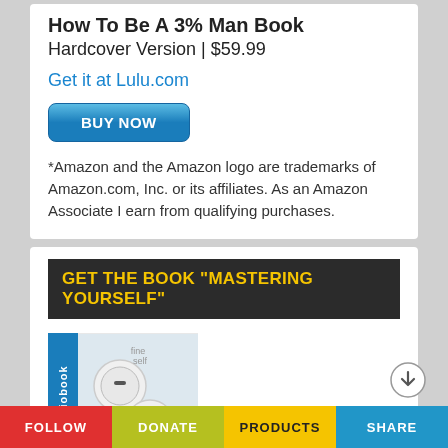How To Be A 3% Man Book
Hardcover Version | $59.99
Get it at Lulu.com
BUY NOW
*Amazon and the Amazon logo are trademarks of Amazon.com, Inc. or its affiliates. As an Amazon Associate I earn from qualifying purchases.
GET THE BOOK "MASTERING YOURSELF"
[Figure (photo): Audiobook image with white earbuds/headphones and a blue side label reading 'audiobook']
[Figure (logo): Audible logo with orange sound wave graphic]
FOLLOW | DONATE | PRODUCTS | SHARE